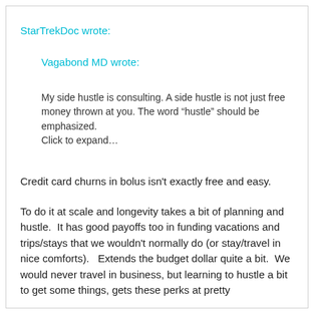StarTrekDoc wrote:
Vagabond MD wrote:
My side hustle is consulting. A side hustle is not just free money thrown at you. The word “hustle” should be emphasized.
Click to expand…
Credit card churns in bolus isn't exactly free and easy.
To do it at scale and longevity takes a bit of planning and hustle.  It has good payoffs too in funding vacations and trips/stays that we wouldn't normally do (or stay/travel in nice comforts).   Extends the budget dollar quite a bit.  We would never travel in business, but learning to hustle a bit to get some things, gets these perks at pretty